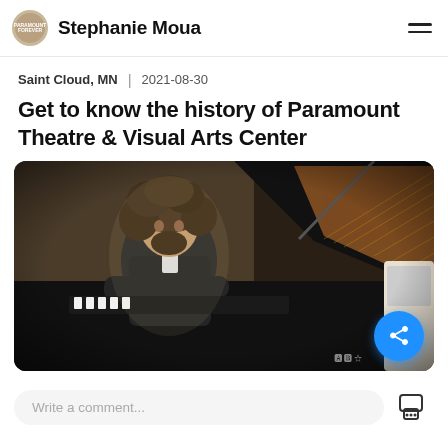Stephanie Moua
Saint Cloud, MN | 2021-08-30
Get to know the history of Paramount Theatre & Visual Arts Center
[Figure (photo): A pianist with long curly hair and a beard, wearing a dark suit jacket, seated at a grand piano with the piano lid open, in a dimly lit performance space.]
Write a comment...